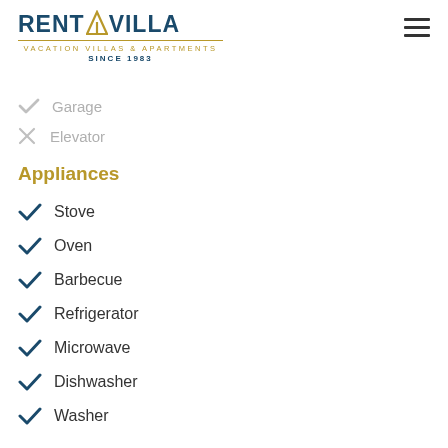[Figure (logo): RENT A VILLA - Vacation Villas & Apartments Since 1983 logo with triangle A]
✓ Garage (checked, inactive/grey)
✗ Elevator (x, inactive/grey)
Appliances
✓ Stove
✓ Oven
✓ Barbecue
✓ Refrigerator
✓ Microwave
✓ Dishwasher
✓ Washer
✗ Dryer (inactive)
✗ Phone (inactive)